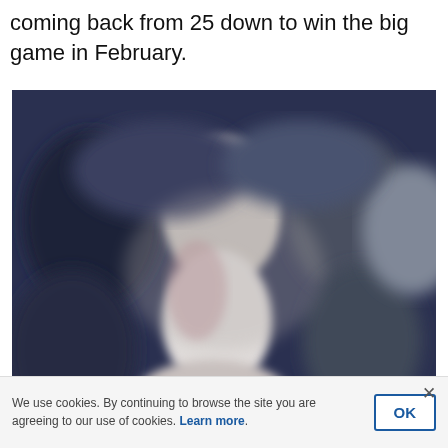coming back from 25 down to win the big game in February.
[Figure (photo): Blurred group photo of people, likely showing President Trump welcoming the New England Patriots to the White House]
President Trump welcomed the New England Patriots to the White
We use cookies. By continuing to browse the site you are agreeing to our use of cookies. Learn more.